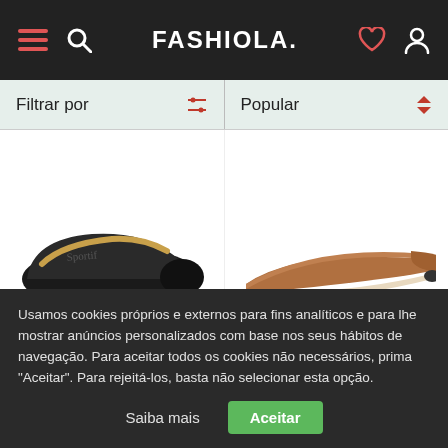FASHIOLA.
Filtrar por
Popular
[Figure (photo): Black leather ballet flat shoe with black toe cap on white background]
[Figure (photo): Brown/tan suede pointed-toe flat shoe on white background]
Usamos cookies próprios e externos para fins analíticos e para lhe mostrar anúncios personalizados com base nos seus hábitos de navegação. Para aceitar todos os cookies não necessários, prima "Aceitar". Para rejeitá-los, basta não selecionar esta opção.
Saiba mais
Aceitar